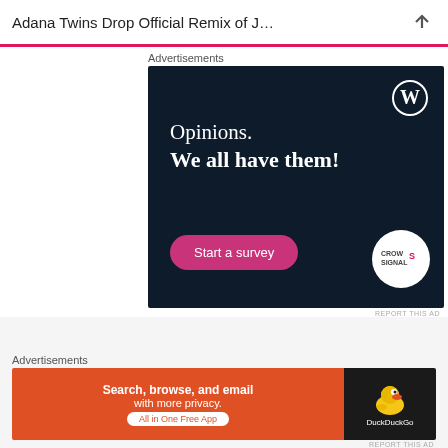Adana Twins Drop Official Remix of J...
Advertisements
[Figure (illustration): Dark navy advertisement banner for Crowdsignal/WordPress. Text reads 'Opinions. We all have them!' with a 'Start a survey' pink button, WordPress logo top right, and Crowdsignal logo bottom right.]
REPORT THIS AD
Advertisements
[Figure (illustration): DuckDuckGo advertisement banner. Left side orange with text 'Search, browse, and email with more privacy. All in One Free App'. Right side dark with DuckDuckGo duck logo and 'DuckDuckGo' text.]
REPORT THIS AD